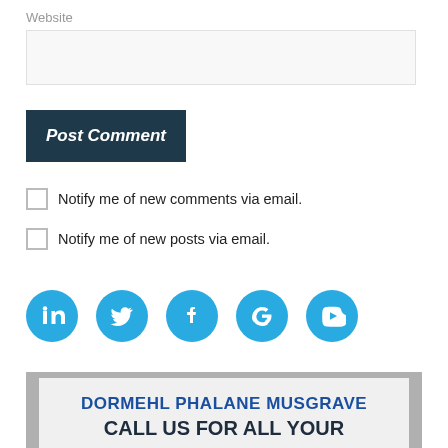Website
Post Comment
Notify me of new comments via email.
Notify me of new posts via email.
[Figure (infographic): Row of five blue circular social media icons: LinkedIn, Twitter, Facebook, Google, YouTube]
[Figure (infographic): Advertisement banner for Dormehl Phalane Musgrave reading 'DORMEHL PHALANE MUSGRAVE' and 'CALL US FOR ALL YOUR']